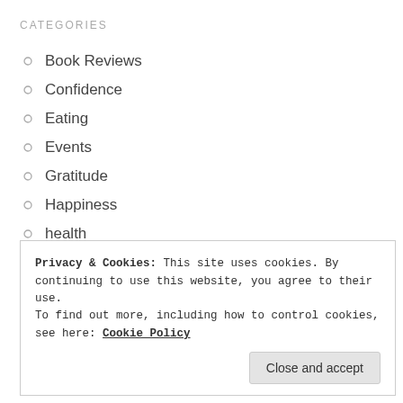CATEGORIES
Book Reviews
Confidence
Eating
Events
Gratitude
Happiness
health
Meditation
Mindful Mondays
Mindfulness
Privacy & Cookies: This site uses cookies. By continuing to use this website, you agree to their use. To find out more, including how to control cookies, see here: Cookie Policy
Close and accept